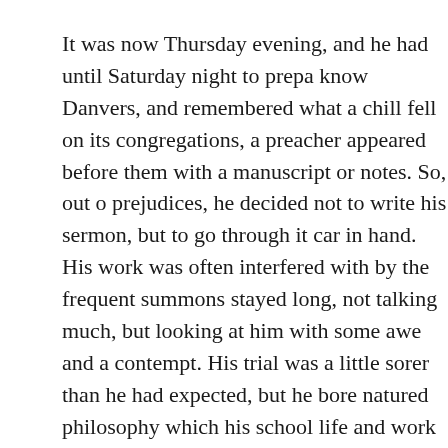It was now Thursday evening, and he had until Saturday night to prepa knew Danvers, and remembered what a chill fell on its congregations, a preacher appeared before them with a manuscript or notes. So, out o prejudices, he decided not to write his sermon, but to go through it car in hand. His work was often interfered with by the frequent summons stayed long, not talking much, but looking at him with some awe and a contempt. His trial was a little sorer than he had expected, but he bore natured philosophy which his school life and work in a city had taugh
The Sunday dawned, a beautiful, Southern summer morning; the lazy the scent of wild honeysuckle were in the air; the Sabbath was full of t God; and yet the congregation which filled the little chapel at Danvers and turbulent hearts, and their faces said plainly: “Rob Dixon, we hav listen to God’s word. We have come here to put you on trial. Do you h
And the thought, “On trial,” was ringing in the young minister’s mind them. His sermon was a very quiet, practical one; a sermon that sough before them as a matter of every-day life. It was altogether different fr